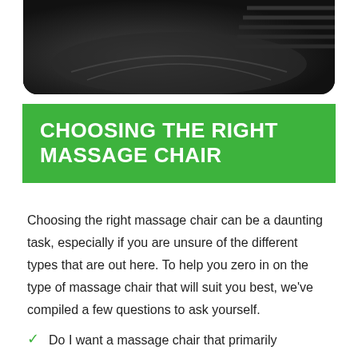[Figure (photo): Close-up black and white photo of a massage chair, showing dark leather upholstery with a circular button/node and ridged mechanical elements]
CHOOSING THE RIGHT MASSAGE CHAIR
Choosing the right massage chair can be a daunting task, especially if you are unsure of the different types that are out here. To help you zero in on the type of massage chair that will suit you best, we've compiled a few questions to ask yourself.
Do I want a massage chair that primarily